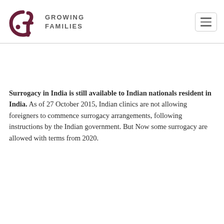Growing Families
Surrogacy in India is still available to Indian nationals resident in India. As of 27 October 2015, Indian clinics are not allowing foreigners to commence surrogacy arrangements, following instructions by the Indian government. But Now some surrogacy are allowed with terms from 2020.